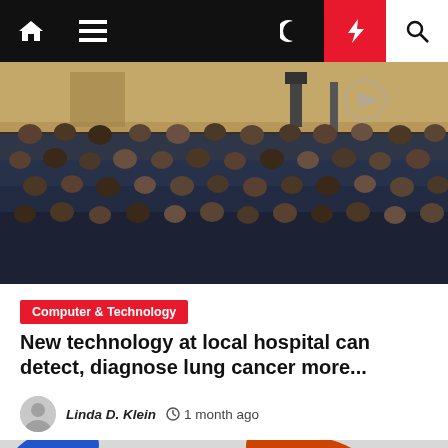Navigation bar with home, hamburger menu, moon/dark-mode, lightning/breaking-news, and search icons
[Figure (photo): Audience seated in an auditorium/conference hall, viewed from the front, dark warm-toned lighting]
Computer & Technology
New technology at local hospital can detect, diagnose lung cancer more...
Linda D. Klein  1 month ago
[Figure (logo): Partial view of a logo with blue and orange curved letter shapes on grey background]